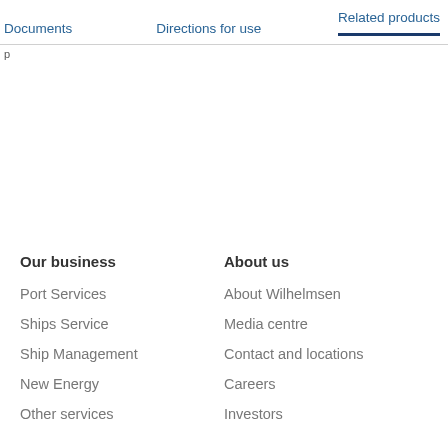Documents   Directions for use   Related products
p...
Our business
Port Services
Ships Service
Ship Management
New Energy
Other services
About us
About Wilhelmsen
Media centre
Contact and locations
Careers
Investors